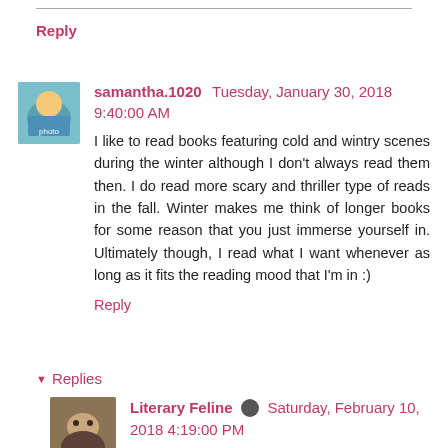Reply
samantha.1020   Tuesday, January 30, 2018 9:40:00 AM
I like to read books featuring cold and wintry scenes during the winter although I don't always read them then. I do read more scary and thriller type of reads in the fall. Winter makes me think of longer books for some reason that you just immerse yourself in. Ultimately though, I read what I want whenever as long as it fits the reading mood that I'm in :)
Reply
Replies
Literary Feline   Saturday, February 10, 2018 4:19:00 PM
Samantha - I wonder what the tie in to longer books in winter is. Maybe for those of you who live in snowy places and want to stay in during